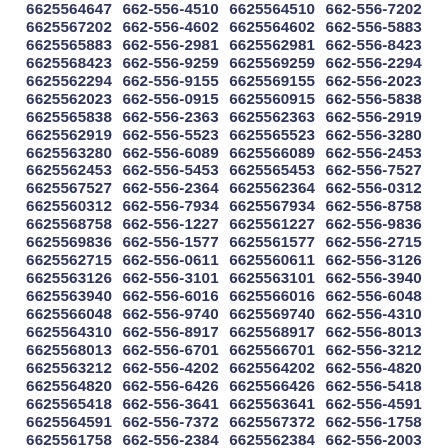6625564647 662-556-4510 6625564510 662-556-7202 6625567202 662-556-4602 6625564602 662-556-5883 6625565883 662-556-2981 6625562981 662-556-8423 6625568423 662-556-9259 6625569259 662-556-2294 6625562294 662-556-9155 6625569155 662-556-2023 6625562023 662-556-0915 6625560915 662-556-5838 6625565838 662-556-2363 6625562363 662-556-2919 6625562919 662-556-5523 6625565523 662-556-3280 6625563280 662-556-6089 6625566089 662-556-2453 6625562453 662-556-5453 6625565453 662-556-7527 6625567527 662-556-2364 6625562364 662-556-0312 6625560312 662-556-7934 6625567934 662-556-8758 6625568758 662-556-1227 6625561227 662-556-9836 6625569836 662-556-1577 6625561577 662-556-2715 6625562715 662-556-0611 6625560611 662-556-3126 6625563126 662-556-3101 6625563101 662-556-3940 6625563940 662-556-6016 6625566016 662-556-6048 6625566048 662-556-9740 6625569740 662-556-4310 6625564310 662-556-8917 6625568917 662-556-8013 6625568013 662-556-6701 6625566701 662-556-3212 6625563212 662-556-4202 6625564202 662-556-4820 6625564820 662-556-6426 6625566426 662-556-5418 6625565418 662-556-3641 6625563641 662-556-4591 6625564591 662-556-7372 6625567372 662-556-1758 6625561758 662-556-2384 6625562384 662-556-2003